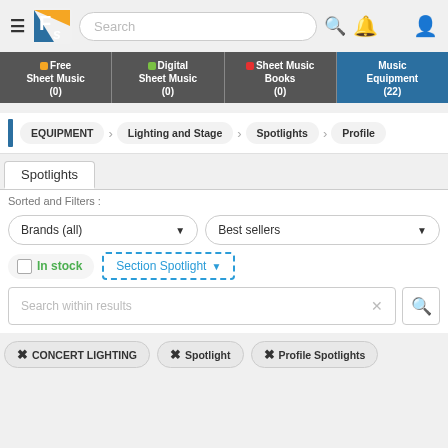[Figure (screenshot): Website header with hamburger menu, logo (orange/yellow F and blue s), search bar, bell icon, and person icon]
[Figure (screenshot): Navigation category tabs: Free Sheet Music (0), Digital Sheet Music (0), Sheet Music Books (0), Music Equipment (22) active/blue]
[Figure (screenshot): Breadcrumb navigation: EQUIPMENT > Lighting and Stage > Spotlights > Profile]
Spotlights
Sorted and Filters :
[Figure (screenshot): Filter dropdowns: Brands (all) and Best sellers; checkbox for In stock; Section Spotlight dropdown; Search within results box; Active filter tags: CONCERT LIGHTING, Spotlight, Profile Spotlights]